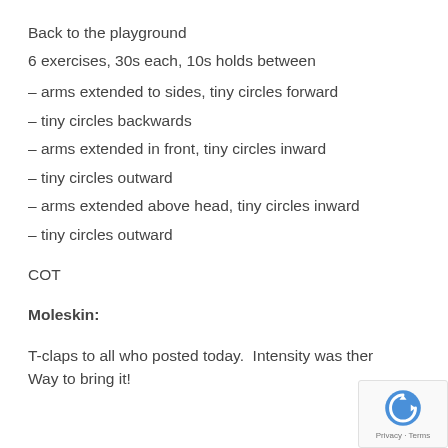Back to the playground
6 exercises, 30s each, 10s holds between
– arms extended to sides, tiny circles forward
– tiny circles backwards
– arms extended in front, tiny circles inward
– tiny circles outward
– arms extended above head, tiny circles inward
– tiny circles outward
COT
Moleskin:
T-claps to all who posted today.  Intensity was ther
Way to bring it!